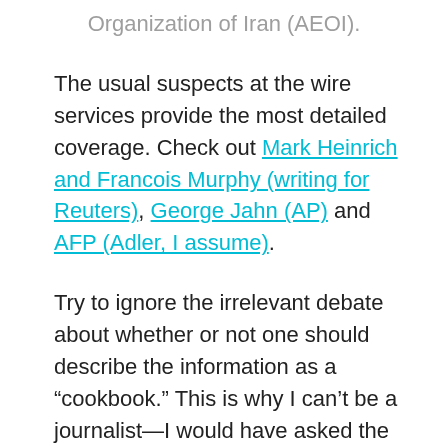Organization of Iran (AEOI).
The usual suspects at the wire services provide the most detailed coverage. Check out Mark Heinrich and Francois Murphy (writing for Reuters), George Jahn (AP) and AFP (Adler, I assume).
Try to ignore the irrelevant debate about whether or not one should describe the information as a “cookbook.” This is why I can’t be a journalist—I would have asked the diplomat to be more specific about the cookbook metaphor.